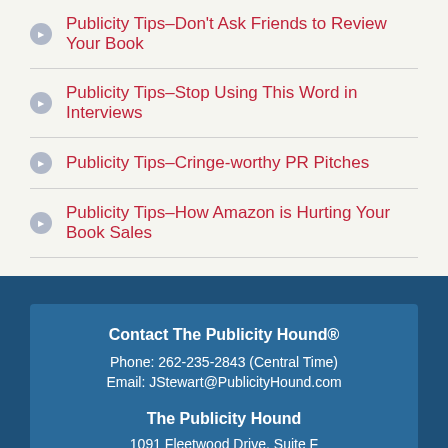Publicity Tips–Don't Ask Friends to Review Your Book
Publicity Tips–Stop Using This Word in Interviews
Publicity Tips–Cringe-worthy PR Pitches
Publicity Tips–How Amazon is Hurting Your Book Sales
Contact The Publicity Hound®
Phone: 262-235-2843 (Central Time)
Email: JStewart@PublicityHound.com
The Publicity Hound
1091 Fleetwood Drive, Suite F
Northfield, Ohio 44067 USA